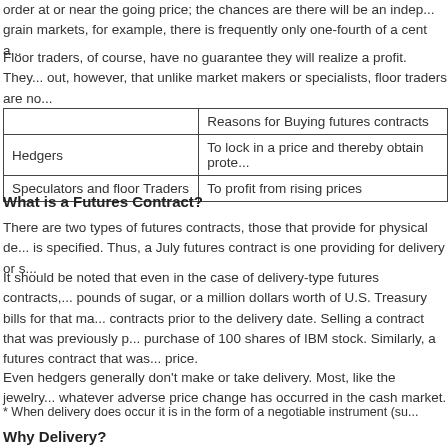order at or near the going price; the chances are there will be an indep... grain markets, for example, there is frequently only one-fourth of a cent a...
Floor traders, of course, have no guarantee they will realize a profit. They... out, however, that unlike market makers or specialists, floor traders are no...
|  | Reasons for Buying futures contracts |
| --- | --- |
| Hedgers | To lock in a price and thereby obtain prote... |
| Speculators and floor Traders | To profit from rising prices |
What is a Futures Contract?
There are two types of futures contracts, those that provide for physical de... is specified. Thus, a July futures contract is one providing for delivery or s...
It should be noted that even in the case of delivery-type futures contracts,... pounds of sugar, or a million dollars worth of U.S. Treasury bills for that ma... contracts prior to the delivery date. Selling a contract that was previously p... purchase of 100 shares of IBM stock. Similarly, a futures contract that was... price.
Even hedgers generally don't make or take delivery. Most, like the jewelry... whatever adverse price change has occurred in the cash market.
* When delivery does occur it is in the form of a negotiable instrument (su...
Why Delivery?